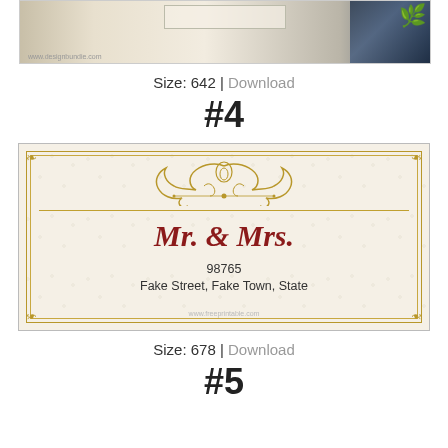[Figure (illustration): Top portion of a wedding invitation or address label card with floral/decorative design, partially cropped]
Size: 642 | Download
#4
[Figure (illustration): Wedding address label template with cream/ivory background, ornate gold border, decorative scrollwork ornament, text reads: Mr. & Mrs. / 98765 / Fake Street, Fake Town, State]
Size: 678 | Download
#5